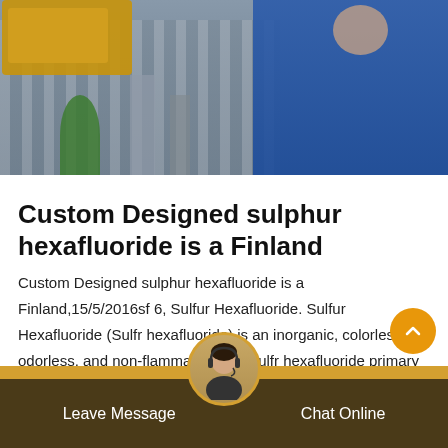[Figure (photo): Industrial/engineering photo showing machinery and a person in a blue jacket working with equipment]
Custom Designed sulphur hexafluoride is a Finland
Custom Designed sulphur hexafluoride is a Finland,15/5/2016sf 6, Sulfur Hexafluoride. Sulfur Hexafluoride (Sulfr hexafluoride) is an inorganic, colorless, odorless, and non-flammable gas. Sulfr hexafluoride primary use is in the electrical industry as a gaseous dielectric medium for various voltage circuit breakers, switchgear and other electrical equipment, often replacing oil filled circuit breakers (OCBs) that can contain harmful
Leave Message   Chat Online